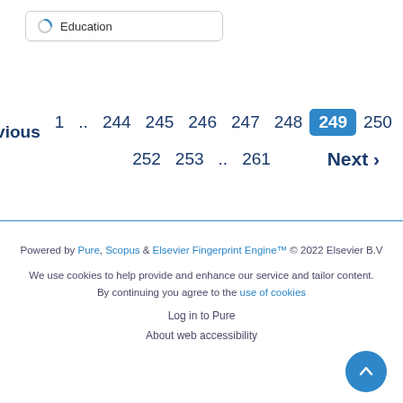Education
‹ Previous  1 .. 244  245  246  247  248  249  250  251  252  253 .. 261  Next ›
Powered by Pure, Scopus & Elsevier Fingerprint Engine™ © 2022 Elsevier B.V
We use cookies to help provide and enhance our service and tailor content. By continuing you agree to the use of cookies
Log in to Pure
About web accessibility